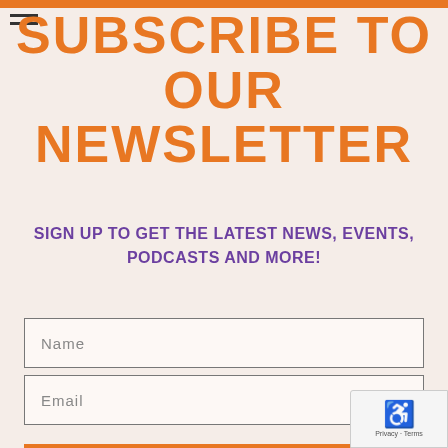SUBSCRIBE TO OUR NEWSLETTER
SIGN UP TO GET THE LATEST NEWS, EVENTS, PODCASTS AND MORE!
Name
Email
Subscribe Now